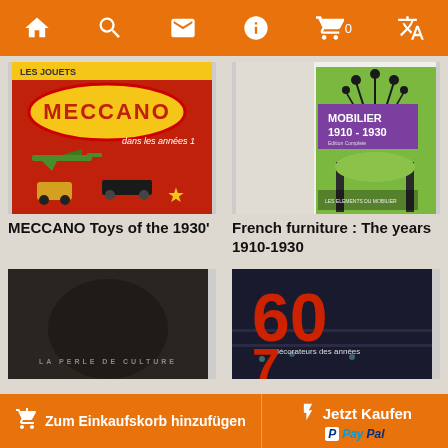[Figure (screenshot): Mobile app navigation bar with orange background containing home, search, mail, info, cart (0), and translate icons]
[Figure (photo): Book cover: MECCANO Toys of the 1930' - red background with toy planes and cars, Meccano logo]
[Figure (photo): Book cover: French furniture: The years 1910-1930 - green art nouveau chair design with purple title block]
MECCANO Toys of the 1930'
French furniture : The years 1910-1930
[Figure (photo): Book cover: LA PERLE DE CULTURE - dark background]
[Figure (photo): Book cover: 60 les decorateurs des annees - large red 60 on dark background]
Zum Einkaufskorb hinzufügen    Jetzt Kaufen  PayPal